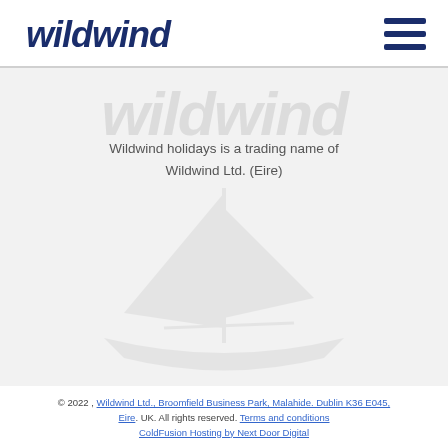WILDWIND
[Figure (logo): Wildwind logo text in dark navy bold italic font]
Wildwind holidays is a trading name of Wildwind Ltd. (Eire)
[Figure (illustration): Faint sailboat watermark illustration in background]
© 2022, Wildwind Ltd., Broomfield Business Park, Malahide. Dublin K36 E045, Eire. UK. All rights reserved. Terms and conditions ColdFusion Hosting by Next Door Digital